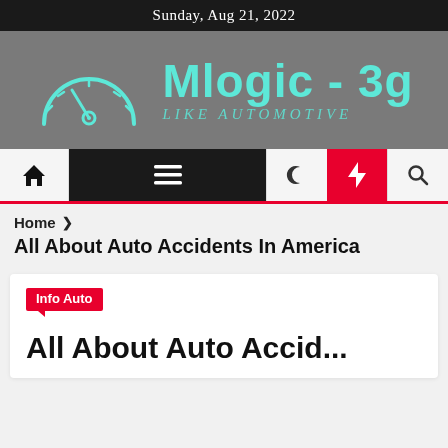Sunday, Aug 21, 2022
[Figure (logo): Mlogic-3g automotive website logo with speedometer icon and teal text reading 'Mlogic - 3g' and subtitle 'LIKE AUTOMOTIVE' on grey background]
Home | Menu | Dark mode | Flash | Search navigation bar
Home > All About Auto Accidents In America
All About Auto Accidents In America
Info Auto
All About Auto Accid...